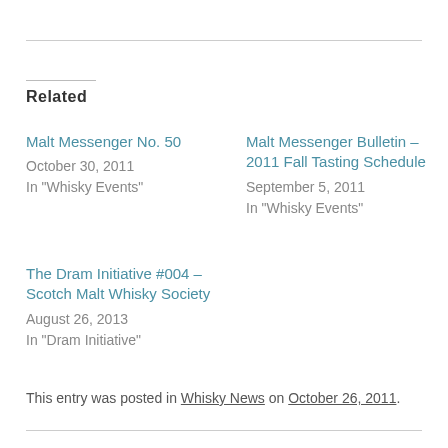Related
Malt Messenger No. 50
October 30, 2011
In "Whisky Events"
Malt Messenger Bulletin – 2011 Fall Tasting Schedule
September 5, 2011
In "Whisky Events"
The Dram Initiative #004 – Scotch Malt Whisky Society
August 26, 2013
In "Dram Initiative"
This entry was posted in Whisky News on October 26, 2011.